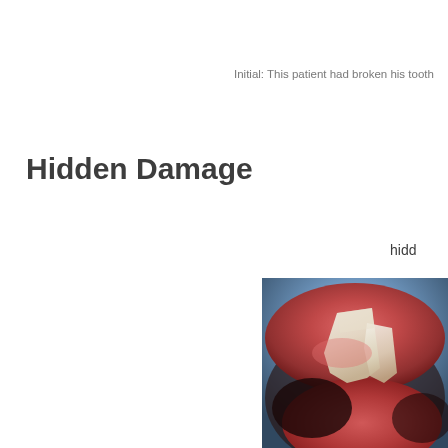Initial: This patient had broken his tooth
Hidden Damage
hidd
[Figure (photo): Close-up dental photograph showing a broken/damaged tooth with surrounding gum tissue inside a patient's mouth]